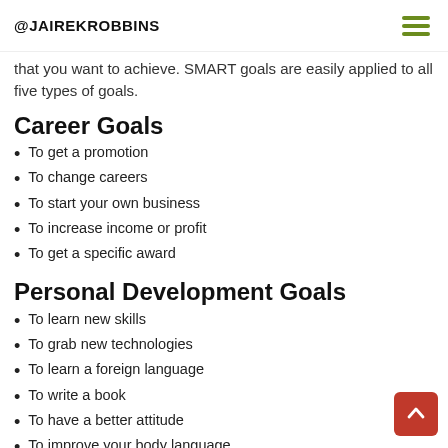@JAIREKROBBINS
that you want to achieve. SMART goals are easily applied to all five types of goals.
Career Goals
To get a promotion
To change careers
To start your own business
To increase income or profit
To get a specific award
Personal Development Goals
To learn new skills
To grab new technologies
To learn a foreign language
To write a book
To have a better attitude
To improve your body language
To read more books
To create blogs
To travel your dream destinations